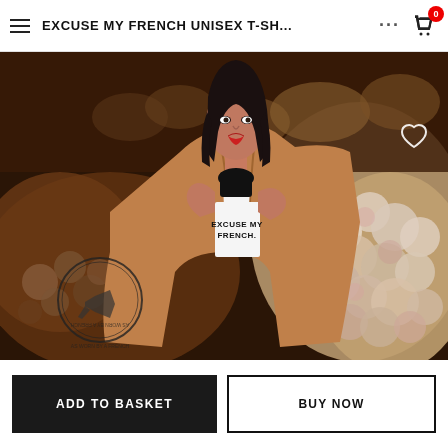EXCUSE MY FRENCH UNISEX T-SH...
[Figure (photo): Woman wearing a white t-shirt printed with 'EXCUSE MY FRENCH.' standing in front of large piles of garlic/onions, wearing a camel coat over the shirt. A circular stamp/watermark is visible in the lower left corner.]
ADD TO BASKET
BUY NOW